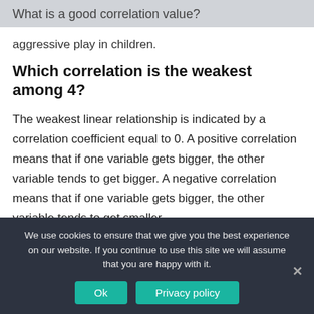What is a good correlation value?
aggressive play in children.
Which correlation is the weakest among 4?
The weakest linear relationship is indicated by a correlation coefficient equal to 0. A positive correlation means that if one variable gets bigger, the other variable tends to get bigger. A negative correlation means that if one variable gets bigger, the other variable tends to get smaller
We use cookies to ensure that we give you the best experience on our website. If you continue to use this site we will assume that you are happy with it.